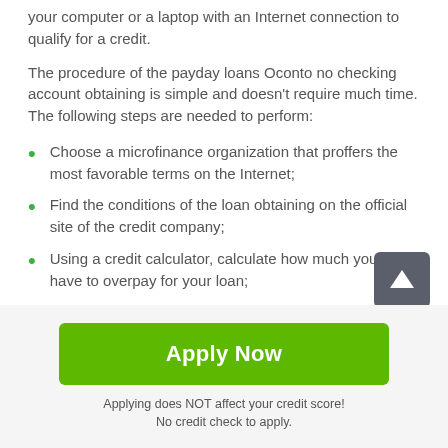your computer or a laptop with an Internet connection to qualify for a credit.
The procedure of the payday loans Oconto no checking account obtaining is simple and doesn't require much time. The following steps are needed to perform:
Choose a microfinance organization that proffers the most favorable terms on the Internet;
Find the conditions of the loan obtaining on the official site of the credit company;
Using a credit calculator, calculate how much you will have to overpay for your loan;
[Figure (other): Green 'Apply Now' button with text 'Applying does NOT affect your credit score! No credit check to apply.']